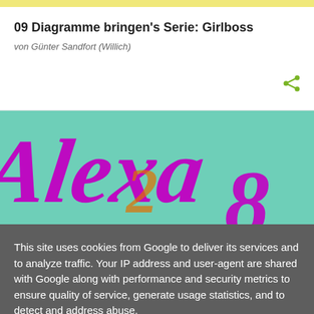09 Diagramme bringen's Serie: Girlboss
von Günter Sandfort (Willich)
[Figure (illustration): Colorful illustration showing the word 'Alexa' in large purple/magenta 3D-style italic letters on a teal/mint green background, with additional partially visible letters.]
This site uses cookies from Google to deliver its services and to analyze traffic. Your IP address and user-agent are shared with Google along with performance and security metrics to ensure quality of service, generate usage statistics, and to detect and address abuse.
LEARN MORE    OK